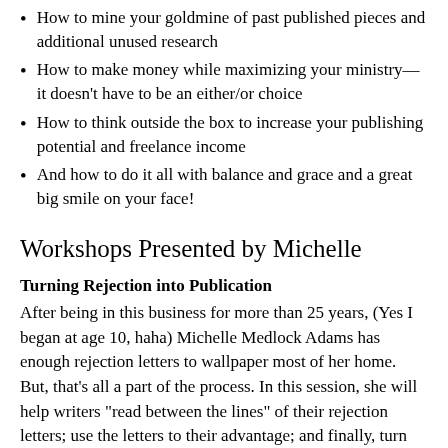How to mine your goldmine of past published pieces and additional unused research
How to make money while maximizing your ministry—it doesn't have to be an either/or choice
How to think outside the box to increase your publishing potential and freelance income
And how to do it all with balance and grace and a great big smile on your face!
Workshops Presented by Michelle
Turning Rejection into Publication
After being in this business for more than 25 years, (Yes I began at age 10, haha) Michelle Medlock Adams has enough rejection letters to wallpaper most of her home. But, that's all a part of the process. In this session, she will help writers "read between the lines" of their rejection letters; use the letters to their advantage; and finally, turn those rejection slips into